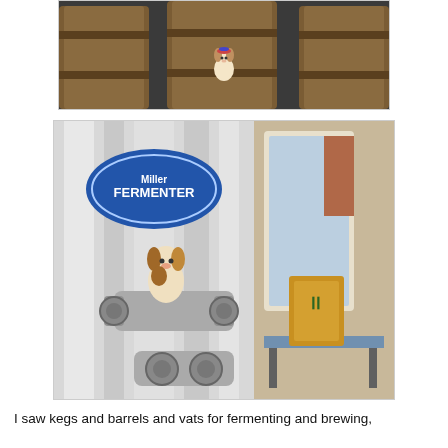[Figure (photo): A stuffed toy dog sitting on a dark floor in front of large wooden barrels/kegs in a brewery setting.]
[Figure (photo): A stuffed toy dog (Beagle) sitting inside a pipe fitting on a large stainless steel fermenter tank with a blue oval 'FERMENTER' sign in a brewery, with windows, brick wall, and a bench visible in the background.]
I saw kegs and barrels and vats for fermenting and brewing,